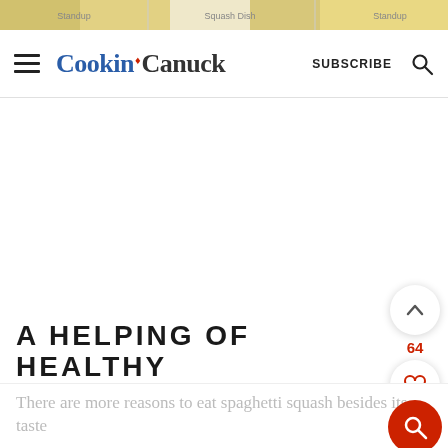[Figure (photo): Top strip showing food thumbnails including squash and other dishes]
Cookin' Canuck  SUBSCRIBE
[Figure (illustration): Large white/empty content area with social interaction buttons on right side: upvote button with count 64, heart/favorite button, and red search button]
A HELPING OF HEALTHY
There are more reasons to eat spaghetti squash besides its taste...